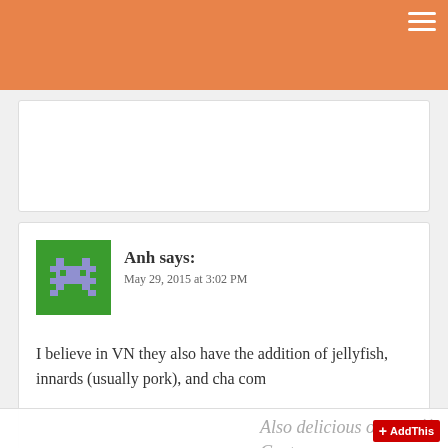Anh says:
May 29, 2015 at 3:02 PM
I believe in VN they also have the addition of jellyfish, innards (usually pork), and cha com
[Figure (illustration): Food icons illustration: whisk, plates, bowl, salad, utensils on white background]
Also delicious on Gastronomy...
[Figure (logo): Gastronomy blog logo with stylized text and wave decorations]
Mother Wolf – Hollywood | G...
gastronomyblog.com